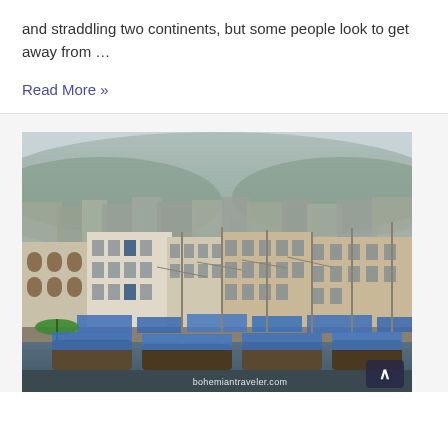and straddling two continents, but some people look to get away from …
Read More »
[Figure (photo): Aerial view of a Mediterranean harbor city with sailboats and blue tarps in the foreground, dense buildings and hillside in the background. Watermark: bohemiantraveler.com]